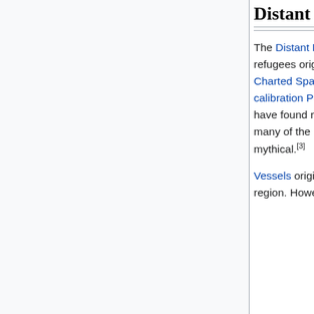Distant Fringe Vessels [edit]
The Distant Fringe is said to be a far spinward-rimward area inhabited by colonists and refugees originating on Terra. The region is extremely isolated, separated from the rest of Charted Space by vast, almost uncrossable rifts that were once broached by a system of calibration Points and the use of tankers. Those few academics within Charted Space who have found references to the Distant Fringe regard it as little more than a tall tale. Likewise, many of the inhabitants of the Distant Fringe believe the existence of Charted Space to be mythical.[3]
Vessels originating within the Distant Fringe are very rarely encountered outside of the region. However, misjumps do occur and anomalies with